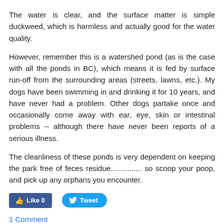The water is clear, and the surface matter is simple duckweed, which is harmless and actually good for the water quality.
However, remember this is a watershed pond (as is the case with all the ponds in BC), which means it is fed by surface run-off from the surrounding areas (streets, lawns, etc.). My dogs have been swimming in and drinking it for 10 years, and have never had a problem. Other dogs partake once and occasionally come away with ear, eye, skin or intestinal problems -- although there have never been reports of a serious illness.
The cleanliness of these ponds is very dependent on keeping the park free of feces residue............... so scoop your poop, and pick up any orphans you encounter.
[Figure (screenshot): Social media buttons: Facebook Like (0) button in blue and Twitter Tweet button in blue]
1 Comment
Pond Re-opening?